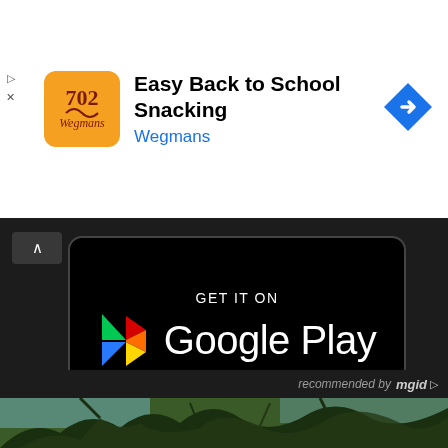[Figure (screenshot): Wegmans app advertisement banner with orange app icon, title 'Easy Back to School Snacking', brand name 'Wegmans', and blue navigation arrow icon on right]
[Figure (screenshot): Google Play Store badge on dark background with colorful Play Store triangle logo and text 'GET IT ON Google Play']
[Figure (screenshot): Dark section with 'recommended by mgid' text and partial photo of tree branches at bottom]
[Figure (photo): Partial view of tree branches and foliage against sky at bottom of page]